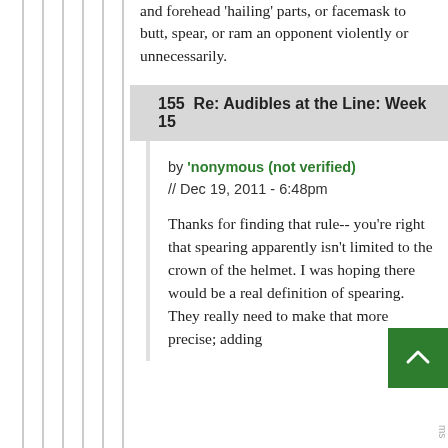and forehead 'hailing' parts, or facemask to butt, spear, or ram an opponent violently or unnecessarily.
155  Re: Audibles at the Line: Week 15
by 'nonymous (not verified) // Dec 19, 2011 - 6:48pm
Thanks for finding that rule-- you're right that spearing apparently isn't limited to the crown of the helmet. I was hoping there would be a real definition of spearing. They really need to make that more precise; adding